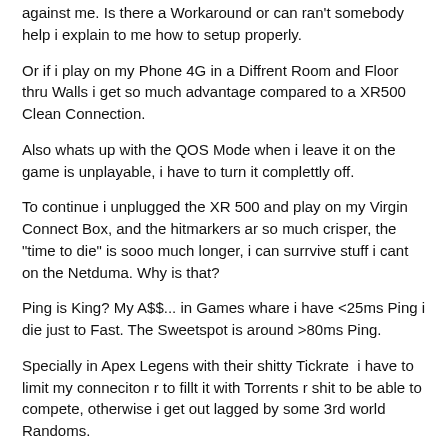against me. Is there a Workaround or can ran't somebody help i explain to me how to setup properly.
Or if i play on my Phone 4G in a Diffrent Room and Floor thru Walls i get so much advantage compared to a XR500 Clean Connection.
Also whats up with the QOS Mode when i leave it on the game is unplayable, i have to turn it complettly off.
To continue i unplugged the XR 500 and play on my Virgin Connect Box, and the hitmarkers ar so much crisper, the "time to die" is sooo much longer, i can surrvive stuff i cant on the Netduma. Why is that?
Ping is King? My A$$... in Games whare i have <25ms Ping i die just to Fast. The Sweetspot is around >80ms Ping.
Specially in Apex Legens with their shitty Tickrate  i have to limit my conneciton r to fillt it with Torrents r shit to be able to compete, otherwise i get out lagged by some 3rd world Randoms.
I try to limit my speeds to get a "bamboo connection" but u cant fake it compared to the laggy N00bs out there, they have shitty inet and they have massive lag comp advantages thru it.
Also is there a way to get OPEN NAT with the XR500 while i use the